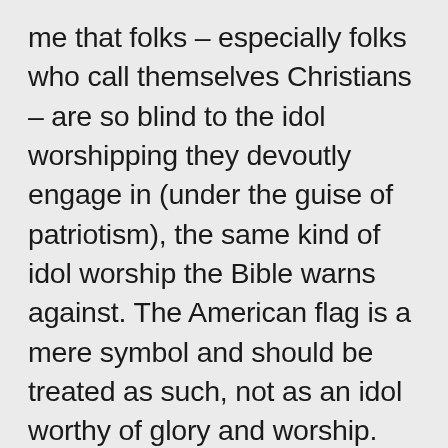me that folks – especially folks who call themselves Christians – are so blind to the idol worshipping they devoutly engage in (under the guise of patriotism), the same kind of idol worship the Bible warns against. The American flag is a mere symbol and should be treated as such, not as an idol worthy of glory and worship. Same for the national anthem, and the Pledge of Allegiance (which, honestly speaking, bothers me because youth are FORCED to say it in school and most kids are just reciting it like some playground